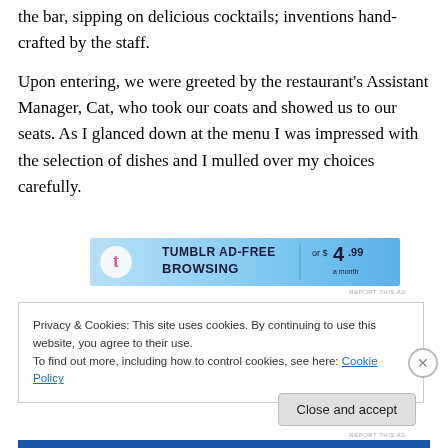the bar, sipping on delicious cocktails; inventions hand-crafted by the staff.
Upon entering, we were greeted by the restaurant's Assistant Manager, Cat, who took our coats and showed us to our seats. As I glanced down at the menu I was impressed with the selection of dishes and I mulled over my choices carefully.
[Figure (screenshot): Tumblr ad banner: 'TUMBLR AD-FREE BROWSING or $4.99 a month']
Privacy & Cookies: This site uses cookies. By continuing to use this website, you agree to their use.
To find out more, including how to control cookies, see here: Cookie Policy
Close and accept